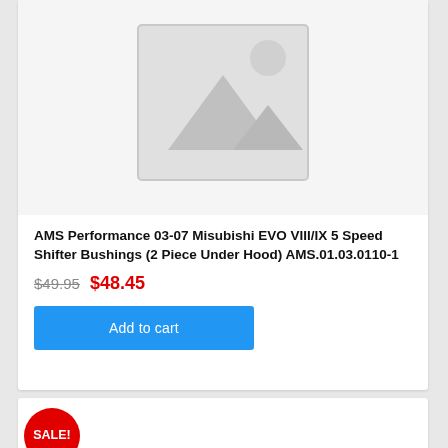[Figure (photo): Placeholder product image with mountain/landscape icon on grey background]
AMS Performance 03-07 Misubishi EVO VIII/IX 5 Speed Shifter Bushings (2 Piece Under Hood) AMS.01.03.0110-1
$49.95  $48.45
Add to cart
SALE!